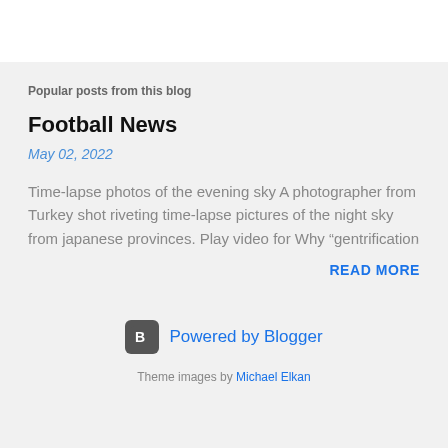Popular posts from this blog
Football News
May 02, 2022
Time-lapse photos of the evening sky A photographer from Turkey shot riveting time-lapse pictures of the night sky from japanese provinces. Play video for Why “gentrification …
READ MORE
[Figure (logo): Blogger logo icon — square with rounded corners containing letter B]
Powered by Blogger
Theme images by Michael Elkan